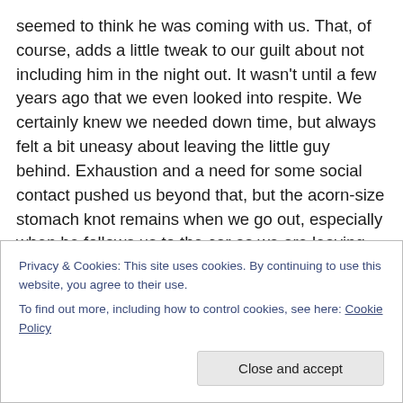seemed to think he was coming with us. That, of course, adds a little tweak to our guilt about not including him in the night out. It wasn't until a few years ago that we even looked into respite. We certainly knew we needed down time, but always felt a bit uneasy about leaving the little guy behind. Exhaustion and a need for some social contact pushed us beyond that, but the acorn-size stomach knot remains when we go out, especially when he follows us to the car as we are leaving.
Earlier, my wife had explained that we were going out and
Privacy & Cookies: This site uses cookies. By continuing to use this website, you agree to their use.
To find out more, including how to control cookies, see here: Cookie Policy
Close and accept